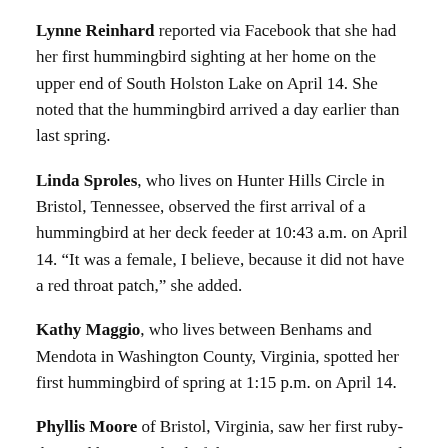Lynne Reinhard reported via Facebook that she had her first hummingbird sighting at her home on the upper end of South Holston Lake on April 14. She noted that the hummingbird arrived a day earlier than last spring.
Linda Sproles, who lives on Hunter Hills Circle in Bristol, Tennessee, observed the first arrival of a hummingbird at her deck feeder at 10:43 a.m. on April 14. “It was a female, I believe, because it did not have a red throat patch,” she added.
Kathy Maggio, who lives between Benhams and Mendota in Washington County, Virginia, spotted her first hummingbird of spring at 1:15 p.m. on April 14.
Phyllis Moore of Bristol, Virginia, saw her first ruby-throated hummingbird of the spring at 4 p.m. on April 14.
Pat Stakely Cook, who resides in Marion, North Carolina